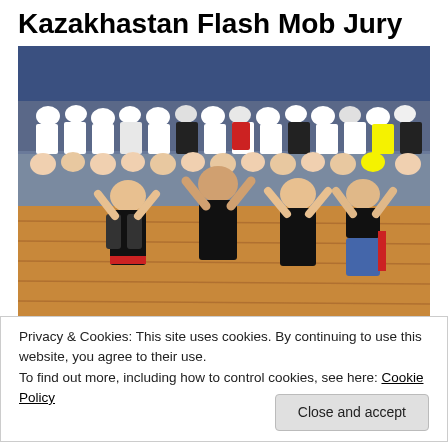Kazakhastan Flash Mob Jury
[Figure (photo): Group of young women in black t-shirts performing a dance flash mob in a gymnasium, with a large crowd of spectators standing in the background. The dancers have their arms raised making peace signs.]
Privacy & Cookies: This site uses cookies. By continuing to use this website, you agree to their use.
To find out more, including how to control cookies, see here: Cookie Policy
Close and accept
the  Republic of Kazakhstan to celebrate the UN